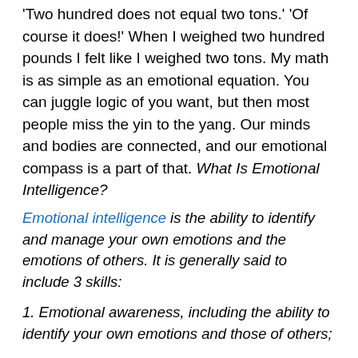'Two hundred does not equal two tons.' 'Of course it does!' When I weighed two hundred pounds I felt like I weighed two tons. My math is as simple as an emotional equation. You can juggle logic of you want, but then most people miss the yin to the yang. Our minds and bodies are connected, and our emotional compass is a part of that. What Is Emotional Intelligence?
Emotional intelligence is the ability to identify and manage your own emotions and the emotions of others. It is generally said to include 3 skills:
1. Emotional awareness, including the ability to identify your own emotions and those of others;
2. The ability to harness emotions and apply them to tasks like thinking and problems solving;